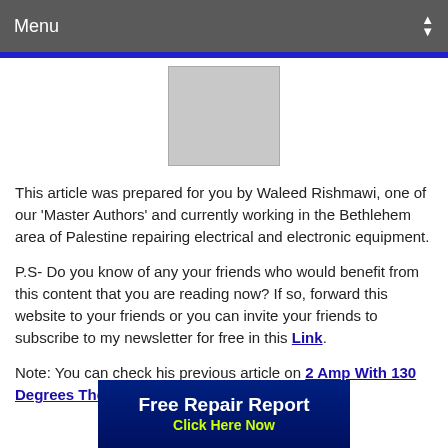Menu
[Figure (other): Gray placeholder image rectangle]
This article was prepared for you by Waleed Rishmawi, one of our 'Master Authors' and currently working in the Bethlehem area of Palestine repairing electrical and electronic equipment.
P.S- Do you know of any your friends who would benefit from this content that you are reading now? If so, forward this website to your friends or you can invite your friends to subscribe to my newsletter for free in this Link.
Note: You can check his previous article on 2 Amp With 130 Degrees Thermal Fuse Replac...
[Figure (infographic): Free Repair Report - Click Here Now advertisement banner]